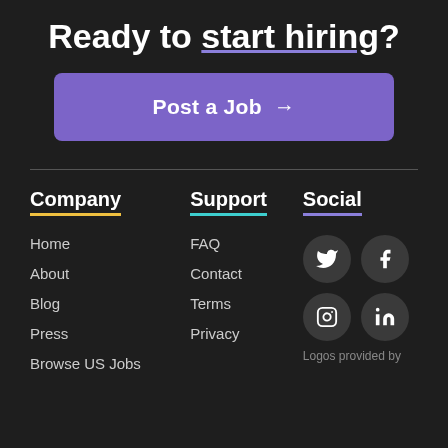Ready to start hiring?
Post a Job →
Company
Support
Social
Home
About
Blog
Press
Browse US Jobs
FAQ
Contact
Terms
Privacy
[Figure (other): Twitter, Facebook, Instagram, LinkedIn social media icons in dark circular buttons]
Logos provided by